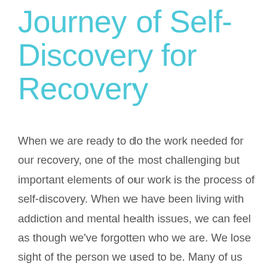Journey of Self-Discovery for Recovery
When we are ready to do the work needed for our recovery, one of the most challenging but important elements of our work is the process of self-discovery. When we have been living with addiction and mental health issues, we can feel as though we've forgotten who we are. We lose sight of the person we used to be. Many of us have isolated ourselves and been completely alone with our pain. We've lost our connections with other people, which are often how we inform our